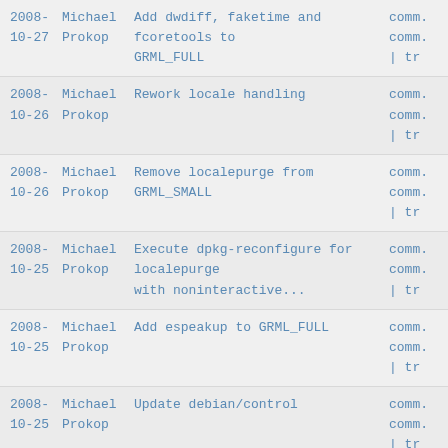2008-10-27 Michael Prokop Add dwdiff, faketime and fcoretools to GRML_FULL comm. comm. | tr
2008-10-26 Michael Prokop Rework locale handling comm. comm. | tr
2008-10-26 Michael Prokop Remove localepurge from GRML_SMALL comm. comm. | tr
2008-10-25 Michael Prokop Execute dpkg-reconfigure for localepurge with noninteractive... comm. comm. | tr
2008-10-25 Michael Prokop Add espeakup to GRML_FULL comm. comm. | tr
2008-10-25 Michael Prokop Update debian/control comm. comm. | tr
2008-10-25 Michael Prokop Drop clamav-getfiles from GRML_FULL comm. comm. | tr